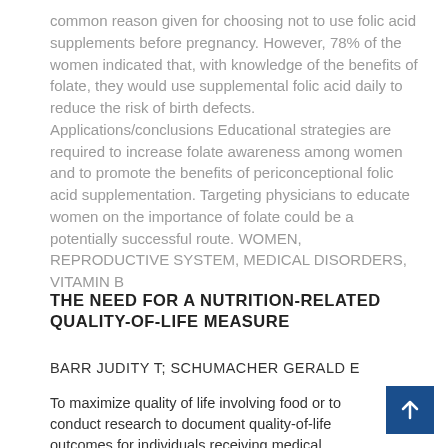common reason given for choosing not to use folic acid supplements before pregnancy. However, 78% of the women indicated that, with knowledge of the benefits of folate, they would use supplemental folic acid daily to reduce the risk of birth defects. Applications/conclusions Educational strategies are required to increase folate awareness among women and to promote the benefits of periconceptional folic acid supplementation. Targeting physicians to educate women on the importance of folate could be a potentially successful route. WOMEN, REPRODUCTIVE SYSTEM, MEDICAL DISORDERS, VITAMIN B
THE NEED FOR A NUTRITION-RELATED QUALITY-OF-LIFE MEASURE
BARR JUDITY T; SCHUMACHER GERALD E
To maximize quality of life involving food or to conduct research to document quality-of-life outcomes for individuals receiving medical nutritional therapy (MNT), a